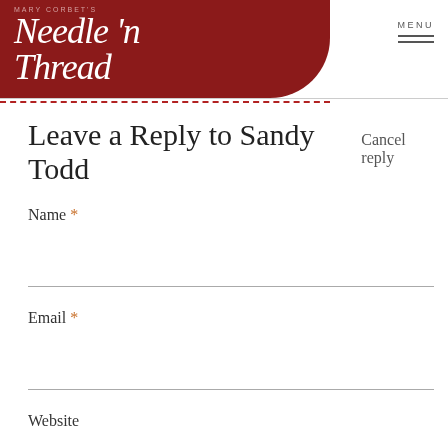Mary Corbett's Needle 'n Thread — MENU
Leave a Reply to Sandy Todd Cancel reply
Name *
Email *
Website
Comment